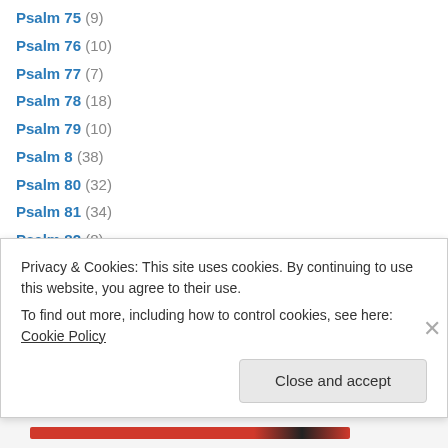Psalm 75 (9)
Psalm 76 (10)
Psalm 77 (7)
Psalm 78 (18)
Psalm 79 (10)
Psalm 8 (38)
Psalm 80 (32)
Psalm 81 (34)
Psalm 82 (8)
Psalm 83 (6)
Psalm 84 (36)
Psalm 85 (42)
Psalm 86 (29)
Psalm 87 (partial)
Privacy & Cookies: This site uses cookies. By continuing to use this website, you agree to their use. To find out more, including how to control cookies, see here: Cookie Policy
Close and accept